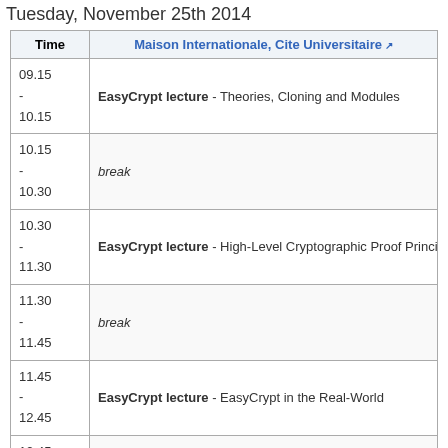Tuesday, November 25th 2014
| Time | Maison Internationale, Cite Universitaire |
| --- | --- |
| 09.15
-
10.15 | EasyCrypt lecture - Theories, Cloning and Modules |
| 10.15
-
10.30 | break |
| 10.30
-
11.30 | EasyCrypt lecture - High-Level Cryptographic Proof Principle |
| 11.30
-
11.45 | break |
| 11.45
-
12.45 | EasyCrypt lecture - EasyCrypt in the Real-World |
| 12.45
-
14.15 | lunch |